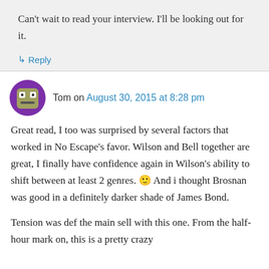Can't wait to read your interview. I'll be looking out for it.
↳ Reply
Tom on August 30, 2015 at 8:28 pm
Great read, I too was surprised by several factors that worked in No Escape's favor. Wilson and Bell together are great, I finally have confidence again in Wilson's ability to shift between at least 2 genres. 🙂 And i thought Brosnan was good in a definitely darker shade of James Bond.
Tension was def the main sell with this one. From the half-hour mark on, this is a pretty crazy